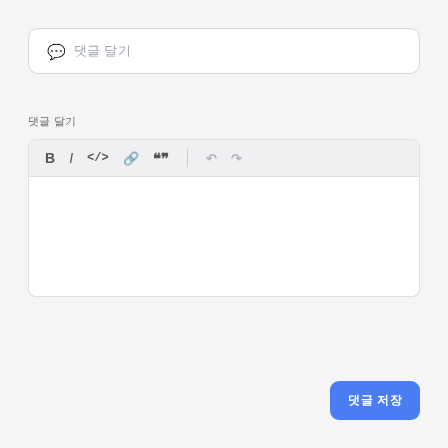[Figure (screenshot): Search/comment input bar with chat bubble icon and placeholder text '댓글 달기']
댓글 달기
[Figure (screenshot): Rich text editor toolbar with Bold, Italic, Code, Link, Quote, Undo, Redo buttons and an empty editor area below]
댓글 저장